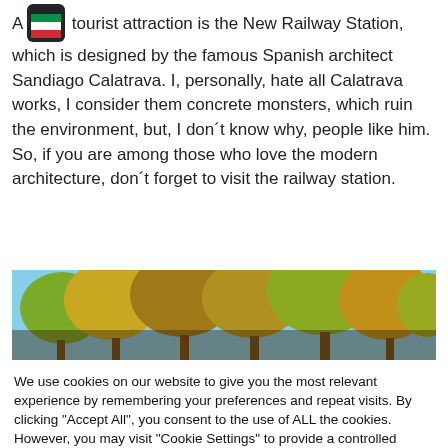A [flag] tourist attraction is the New Railway Station, which is designed by the famous Spanish architect Sandiago Calatrava. I, personally, hate all Calatrava works, I consider them concrete monsters, which ruin the environment, but, I don´t know why, people like him. So, if you are among those who love the modern architecture, don´t forget to visit the railway station.
[Figure (photo): Outdoor photo showing trees with autumn foliage against a blue sky]
We use cookies on our website to give you the most relevant experience by remembering your preferences and repeat visits. By clicking "Accept All", you consent to the use of ALL the cookies. However, you may visit "Cookie Settings" to provide a controlled consent.